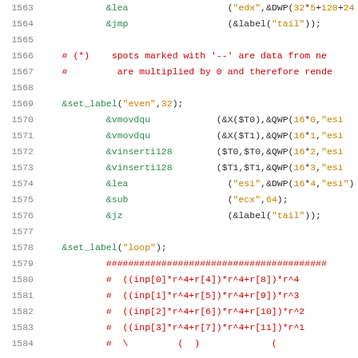Source code listing lines 1563-1584, assembly/Perl macro code
1563   &lea   ("edx",&DWP(32*5+128+24...
1564   &jmp   (&label("tail"));
1565
1566   # (*)   spots marked with '--' are data from ne...
1567   #   are multiplied by 0 and therefore rende...
1568
1569   &set_label("even",32);
1570   &vmovdqu   (&X($T0),&QWP(16*0,"esi...
1571   &vmovdqu   (&X($T1),&QWP(16*1,"esi...
1572   &vinserti128   ($T0,$T0,&QWP(16*2,"esi...
1573   &vinserti128   ($T1,$T1,&QWP(16*3,"esi...
1574   &lea   ("esi",&DWP(16*4,"esi")...
1575   &sub   ("ecx",64);
1576   &jz   (&label("tail"));
1577
1578   &set_label("loop");
1579   ####################################...
1580   #  ((inp[0]*r^4+r[4])*r^4+r[8])*r^4
1581   #  ((inp[1]*r^4+r[5])*r^4+r[9])*r^3
1582   #  ((inp[2]*r^4+r[6])*r^4+r[10])*r^2
1583   #  ((inp[3]*r^4+r[7])*r^4+r[11])*r^1
1584   #  ...